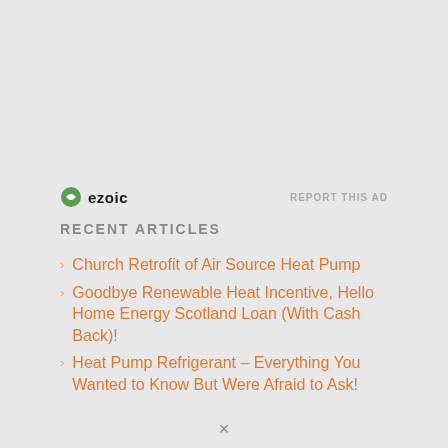[Figure (logo): Ezoic logo with green circular icon and bold 'ezoic' text, alongside 'REPORT THIS AD' text in grey]
RECENT ARTICLES
Church Retrofit of Air Source Heat Pump
Goodbye Renewable Heat Incentive, Hello Home Energy Scotland Loan (With Cash Back)!
Heat Pump Refrigerant – Everything You Wanted to Know But Were Afraid to Ask!
×